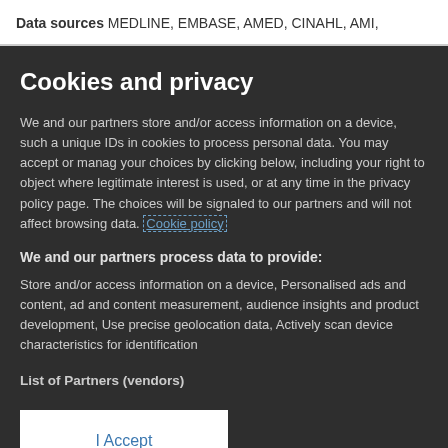Data sources MEDLINE, EMBASE, AMED, CINAHL, AMI,
Cookies and privacy
We and our partners store and/or access information on a device, such a unique IDs in cookies to process personal data. You may accept or manag your choices by clicking below, including your right to object where legitimate interest is used, or at any time in the privacy policy page. The choices will be signaled to our partners and will not affect browsing data. Cookie policy
We and our partners process data to provide:
Store and/or access information on a device, Personalised ads and content, ad and content measurement, audience insights and product development, Use precise geolocation data, Actively scan device characteristics for identification
List of Partners (vendors)
I Accept